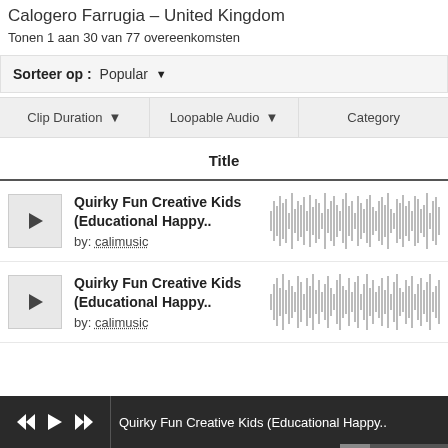Calogero Farrugia – United Kingdom
Tonen 1 aan 30 van 77 overeenkomsten
Sorteer op : Popular
Clip Duration | Loopable Audio | Category
Title
Quirky Fun Creative Kids (Educational Happy..
by: calimusic
Quirky Fun Creative Kids (Educational Happy..
by: calimusic
Quirky Fun Creative Kids (Educational Happy..